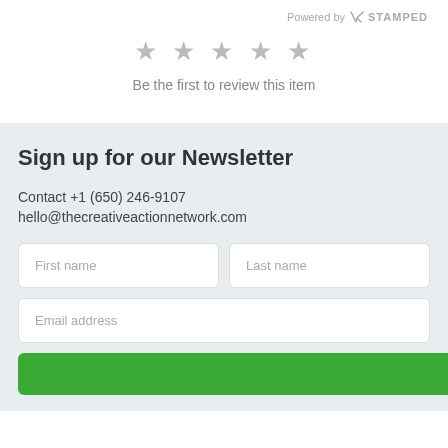Powered by STAMPED
[Figure (other): Five gray star rating icons]
Be the first to review this item
Sign up for our Newsletter
Contact +1 (650) 246-9107
hello@thecreativeactionnetwork.com
First name | Last name | Email address